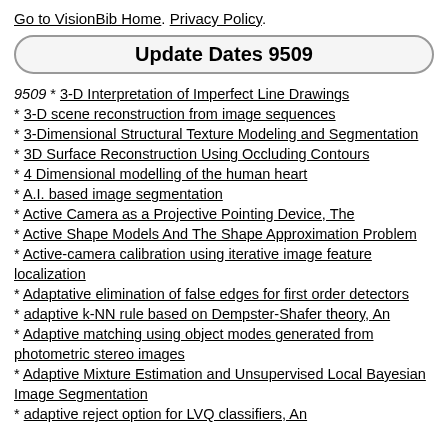Go to VisionBib Home. Privacy Policy.
Update Dates 9509
9509 * 3-D Interpretation of Imperfect Line Drawings
* 3-D scene reconstruction from image sequences
* 3-Dimensional Structural Texture Modeling and Segmentation
* 3D Surface Reconstruction Using Occluding Contours
* 4 Dimensional modelling of the human heart
* A.I. based image segmentation
* Active Camera as a Projective Pointing Device, The
* Active Shape Models And The Shape Approximation Problem
* Active-camera calibration using iterative image feature localization
* Adaptative elimination of false edges for first order detectors
* adaptive k-NN rule based on Dempster-Shafer theory, An
* Adaptive matching using object modes generated from photometric stereo images
* Adaptive Mixture Estimation and Unsupervised Local Bayesian Image Segmentation
* adaptive reject option for LVQ classifiers, An